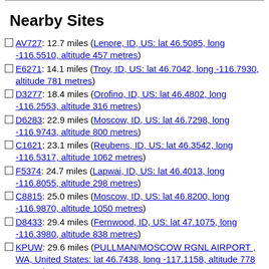Nearby Sites
AV727: 12.7 miles (Lenore, ID, US: lat 46.5085, long -116.5510, altitude 457 metres)
E6271: 14.1 miles (Troy, ID, US: lat 46.7042, long -116.7930, altitude 781 metres)
D3277: 18.4 miles (Orofino, ID, US: lat 46.4802, long -116.2553, altitude 316 metres)
D6283: 22.9 miles (Moscow, ID, US: lat 46.7298, long -116.9743, altitude 800 metres)
C1621: 23.1 miles (Reubens, ID, US: lat 46.3542, long -116.5317, altitude 1062 metres)
F5374: 24.7 miles (Lapwai, ID, US: lat 46.4013, long -116.8055, altitude 298 metres)
C8815: 25.0 miles (Moscow, ID, US: lat 46.8200, long -116.9870, altitude 1050 metres)
D8433: 29.4 miles (Fernwood, ID, US: lat 47.1075, long -116.3980, altitude 838 metres)
KPUW: 29.6 miles (PULLMAN/MOSCOW RGNL AIRPORT , WA, United States: lat 46.7438, long -117.1158, altitude 778 metres)
TUNIN: 30.2 miles (Uniontown, WA, United States Of